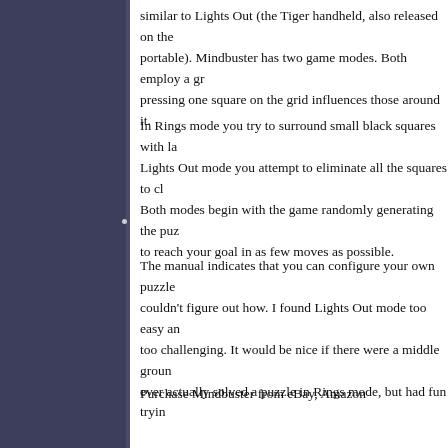similar to Lights Out (the Tiger handheld, also released on the portable). Mindbuster has two game modes. Both employ a gr pressing one square on the grid influences those around it.
In Rings mode you try to surround small black squares with la Lights Out mode you attempt to eliminate all the squares to cl Both modes begin with the game randomly generating the puz to reach your goal in as few moves as possible.
The manual indicates that you can configure your own puzzle couldn't figure out how. I found Lights Out mode too easy an too challenging. It would be nice if there were a middle groun ever actually solved a puzzle in Rings mode, but had fun tryin
Purchase Mindbuster from eBay, Amazon